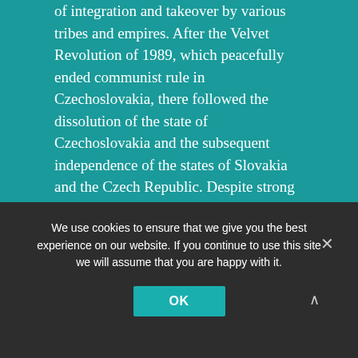of integration and takeover by various tribes and empires. After the Velvet Revolution of 1989, which peacefully ended communist rule in Czechoslovakia, there followed the dissolution of the state of Czechoslovakia and the subsequent independence of the states of Slovakia and the Czech Republic. Despite strong regional disparity, around 90% of the adult population own their own homes. Slovakia has a distinct Romany population which suffers distinct deprivation. It is a developed country with a high-income economy and high standard of living. There is some strong regional disparity and although around 90% of the adult population own their own homes, Slovakia has a distinct Romany population which suffers marked deprivation.
We use cookies to ensure that we give you the best experience on our website. If you continue to use this site we will assume that you are happy with it.